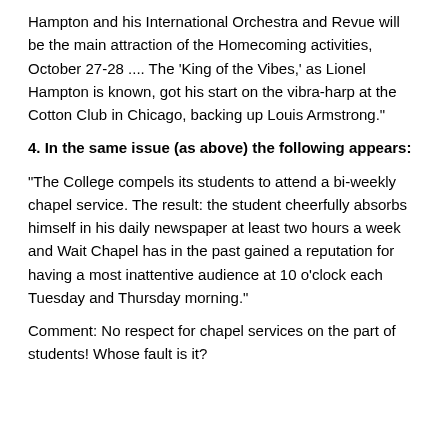Hampton and his International Orchestra and Revue will be the main attraction of the Homecoming activities, October 27-28 .... The 'King of the Vibes,' as Lionel Hampton is known, got his start on the vibra-harp at the Cotton Club in Chicago, backing up Louis Armstrong."
4. In the same issue (as above) the following appears:
"The College compels its students to attend a bi-weekly chapel service. The result: the student cheerfully absorbs himself in his daily newspaper at least two hours a week and Wait Chapel has in the past gained a reputation for having a most inattentive audience at 10 o'clock each Tuesday and Thursday morning."
Comment: No respect for chapel services on the part of students! Whose fault is it?